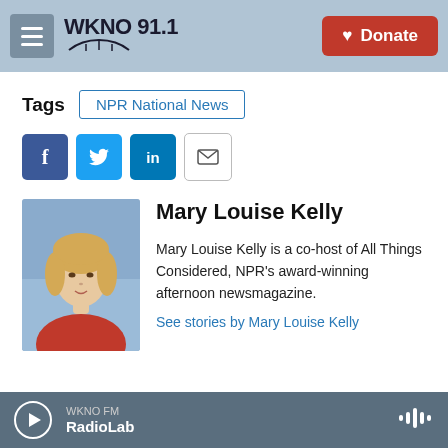WKNO 91.1 | Donate
Tags  NPR National News
[Figure (infographic): Social share buttons: Facebook, Twitter, LinkedIn, Email]
[Figure (photo): Headshot of Mary Louise Kelly, a woman with blonde hair wearing a red top, against a blue background]
Mary Louise Kelly
Mary Louise Kelly is a co-host of All Things Considered, NPR's award-winning afternoon newsmagazine.
See stories by Mary Louise Kelly
WKNO FM  RadioLab